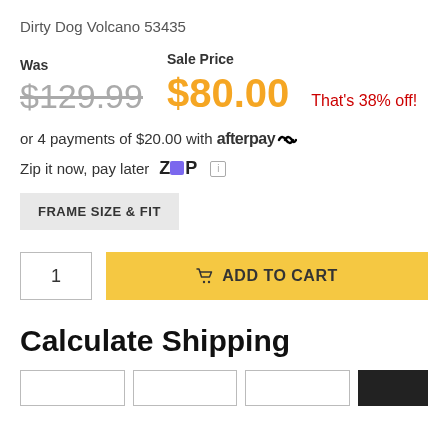Dirty Dog Volcano 53435
Was $129.99   Sale Price $80.00   That's 38% off!
or 4 payments of $20.00 with afterpay
Zip it now, pay later  ZIP
FRAME SIZE & FIT
1   ADD TO CART
Calculate Shipping